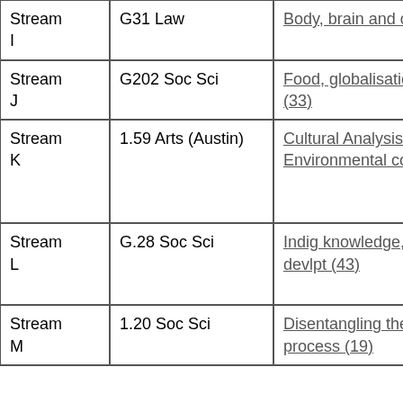| Stream | Code | Title (col 1) | Title (col 2, truncated) |
| --- | --- | --- | --- |
| Stream I | G31 Law | Body, brain and culture (6) | Body, brain and cu... |
| Stream J | G202 Soc Sci | Food, globalisation, diversity (33) | Food, globalisation, diversi... |
| Stream K | 1.59 Arts (Austin) | Cultural Analysis, Environmental contests (14) | Cultural Analysis, Enviro contests... |
| Stream L | G.28 Soc Sci | Indig knowledge, sustainable devlpt (43) | Indig knowledge, sustainable devlpt... |
| Stream M | 1.20 Soc Sci | Disentangling the creative process (19) | Disentan the cre... |